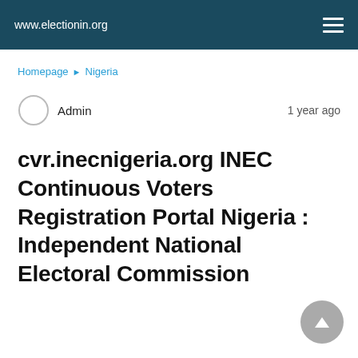www.electionin.org
Homepage › Nigeria
Admin  1 year ago
cvr.inecnigeria.org INEC Continuous Voters Registration Portal Nigeria : Independent National Electoral Commission